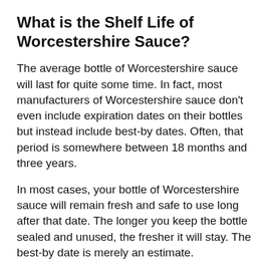What is the Shelf Life of Worcestershire Sauce?
The average bottle of Worcestershire sauce will last for quite some time. In fact, most manufacturers of Worcestershire sauce don't even include expiration dates on their bottles but instead include best-by dates. Often, that period is somewhere between 18 months and three years.
In most cases, your bottle of Worcestershire sauce will remain fresh and safe to use long after that date. The longer you keep the bottle sealed and unused, the fresher it will stay. The best-by date is merely an estimate.
Unfortunately, there's no way of knowing whether the best by date on your bottle of Worcestershire sauce is accurate or not. It degrades very slowly, so while a ten-year bottle might taste a little funky, a two-year